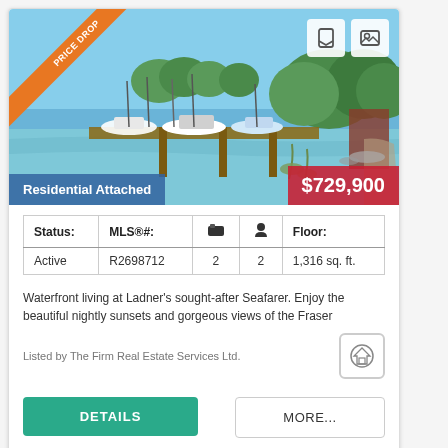[Figure (photo): Waterfront marina scene with boats docked along a pier, blue sky, trees in background. Orange 'PRICE DROP' ribbon in top-left corner. 'Residential Attached' label bottom-left in blue. '$729,900' price label bottom-right in red.]
| Status: | MLS®#: | 🛏 | 🚿 | Floor: |
| --- | --- | --- | --- | --- |
| Active | R2698712 | 2 | 2 | 1,316 sq. ft. |
Waterfront living at Ladner's sought-after Seafarer. Enjoy the beautiful nightly sunsets and gorgeous views of the Fraser
Listed by The Firm Real Estate Services Ltd.